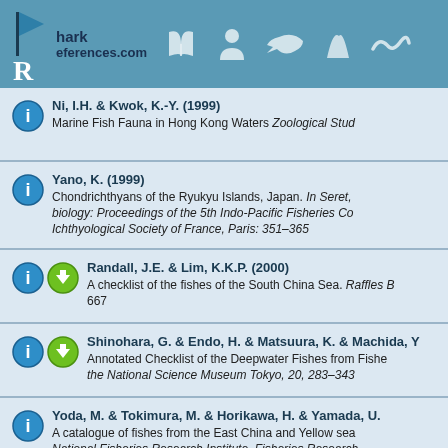SharkReferences.com
Ni, I.H. & Kwok, K.-Y. (1999) Marine Fish Fauna in Hong Kong Waters Zoological Stud...
Yano, K. (1999) Chondrichthyans of the Ryukyu Islands, Japan. In Seret, biology: Proceedings of the 5th Indo-Pacific Fisheries Co... Ichthyological Society of France, Paris: 351–365
Randall, J.E. & Lim, K.K.P. (2000) A checklist of the fishes of the South China Sea. Raffles B... 667
Shinohara, G. & Endo, H. & Matsuura, K. & Machida, Y... Annotated Checklist of the Deepwater Fishes from Fishe... the National Science Museum Tokyo, 20, 283–343
Yoda, M. & Tokimura, M. & Horikawa, H. & Yamada, U... A catalogue of fishes from the East China and Yellow sea... National Fisheries Research Institute, Fisheries Research... Japanese)